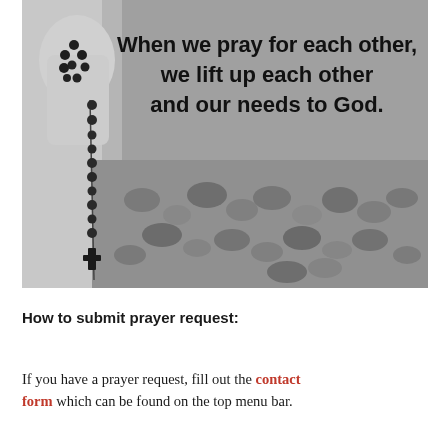[Figure (photo): Black and white photo of a hand holding a rosary with beads and a cross hanging down, with small stones/pebbles blurred in the background. Bold black text overlaid on upper right reads: 'When we pray for each other, we lift up each other and our needs to God.']
How to submit prayer request:
If you have a prayer request, fill out the contact form which can be found on the top menu bar.